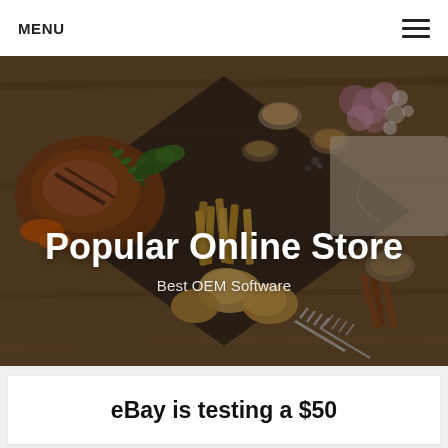MENU
[Figure (photo): Overhead shot of a food spread on wooden table with grilled meats, fries, bread rolls, spices, flowers and a fork]
Popular Online Store
Best OEM Software
eBay is testing a $50